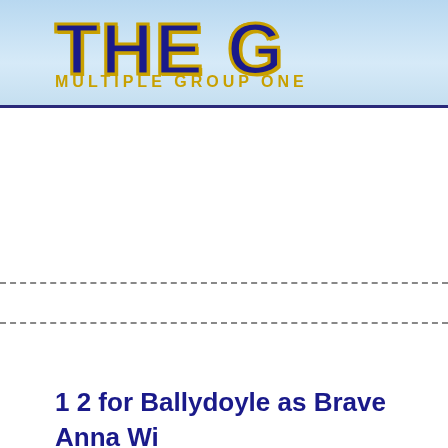[Figure (logo): Website banner with large bold text 'THE G' (partially visible) in dark blue with gold outline on light blue gradient background, subtitle 'MULTIPLE GROUP ONE' in gold letters below]
1 2 for Ballydoyle as Brave Anna Wi... Aidan's first win in the race well do...